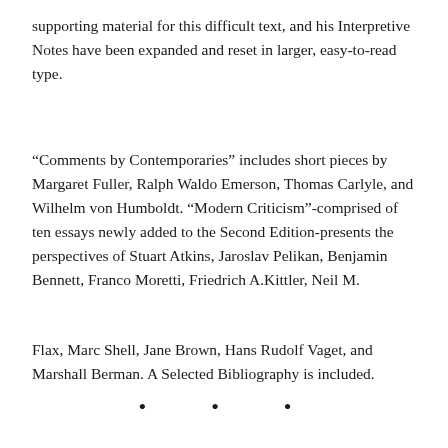supporting material for this difficult text, and his Interpretive Notes have been expanded and reset in larger, easy-to-read type.
“Comments by Contemporaries” includes short pieces by Margaret Fuller, Ralph Waldo Emerson, Thomas Carlyle, and Wilhelm von Humboldt. “Modern Criticism”-comprised of ten essays newly added to the Second Edition-presents the perspectives of Stuart Atkins, Jaroslav Pelikan, Benjamin Bennett, Franco Moretti, Friedrich A.Kittler, Neil M.
Flax, Marc Shell, Jane Brown, Hans Rudolf Vaget, and Marshall Berman. A Selected Bibliography is included.
• • •